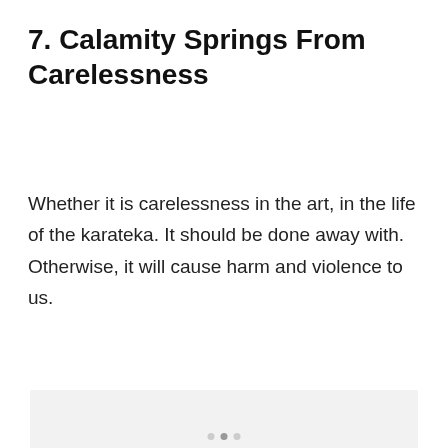7. Calamity Springs From Carelessness
Whether it is carelessness in the art, in the life of the karateka. It should be done away with. Otherwise, it will cause harm and violence to us.
[Figure (other): Light gray placeholder image area]